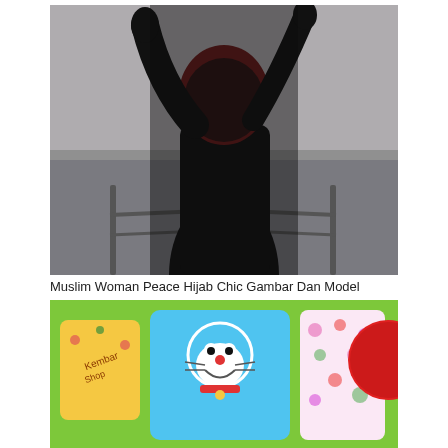[Figure (photo): Silhouette of a woman wearing a hijab standing on a boat at sea, arms raised, with ocean and overcast sky in the background. Dark moody tones.]
Muslim Woman Peace Hijab Chic Gambar Dan Model Pakaian
[Figure (photo): Colorful items including bags and accessories with cartoon characters such as Doraemon and floral patterns displayed on a bright green surface, with a red round object on the right.]